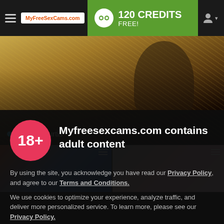MyFreeSexCams.com — 120 CREDITS FREE!
[Figure (photo): Outdoor photo of a person in a wheat/hay field, with label 'Salome Kurtis']
[Figure (photo): Two thumbnail live cam previews side by side]
Myfreesexcams.com contains adult content
By using the site, you acknowledge you have read our Privacy Policy, and agree to our Terms and Conditions.
We use cookies to optimize your experience, analyze traffic, and deliver more personalized service. To learn more, please see our Privacy Policy.
I AGREE